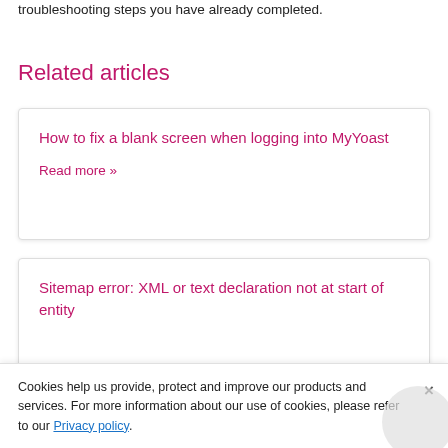troubleshooting steps you have already completed.
Related articles
How to fix a blank screen when logging into MyYoast
Read more »
Sitemap error: XML or text declaration not at start of entity
Cookies help us provide, protect and improve our products and services. For more information about our use of cookies, please refer to our Privacy policy.